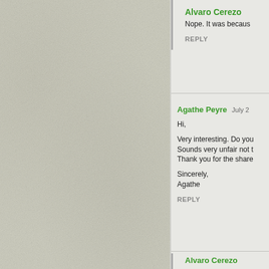[Figure (photo): Left panel showing a textured paper or stone-like gray-green surface as background]
Alvaro Cerezo
Nope. It was becaus
REPLY
Agathe Peyre   July 2
Hi,
Very interesting. Do you
Sounds very unfair not t
Thank you for the share
Sincerely,
Agathe
REPLY
Alvaro Cerezo